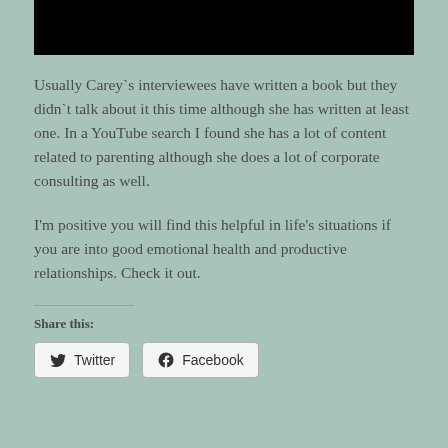[Figure (photo): Black rectangular image or redacted header area at the top of the page]
Usually Carey`s interviewees have written a book but they didn`t talk about it this time although she has written at least one. In a YouTube search I found she has a lot of content related to parenting although she does a lot of corporate consulting as well.
I'm positive you will find this helpful in life's situations if you are into good emotional health and productive relationships. Check it out.
Share this:
Twitter  Facebook